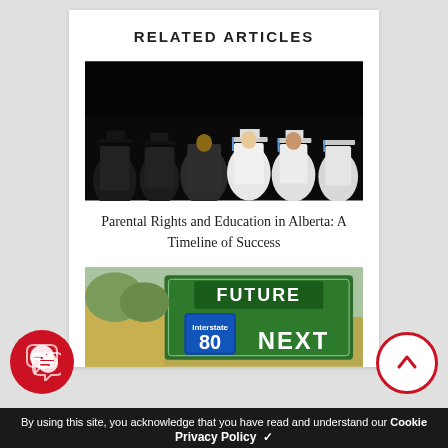RELATED ARTICLES
[Figure (photo): Graduates in caps and gowns at a graduation ceremony, dark background with students in the foreground.]
Parental Rights and Education in Alberta: A Timeline of Success
[Figure (photo): A road sign showing 'FUTURE' at top and 'NEXT' with Interstate 80 shield below.]
By using this site, you acknowledge that you have read and understand our Cookie Privacy Policy ✓